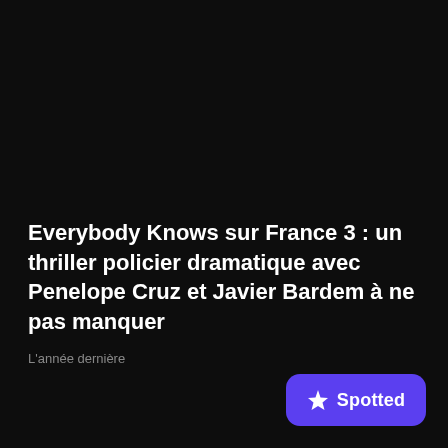Everybody Knows sur France 3 : un thriller policier dramatique avec Penelope Cruz et Javier Bardem à ne pas manquer
L'année dernière
[Figure (logo): Spotted app logo — purple rounded rectangle with a white diamond/star icon and the word 'Spotted' in white bold text]